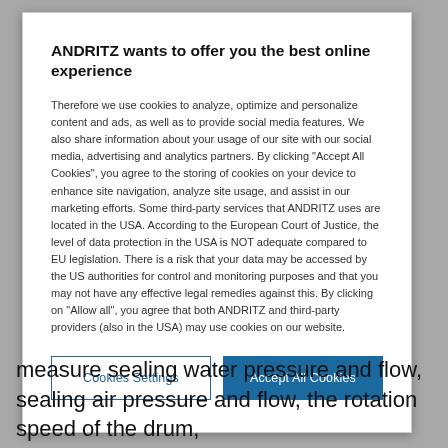ANDRITZ wants to offer you the best online experience
Therefore we use cookies to analyze, optimize and personalize content and ads, as well as to provide social media features. We also share information about your usage of our site with our social media, advertising and analytics partners. By clicking "Accept All Cookies", you agree to the storing of cookies on your device to enhance site navigation, analyze site usage, and assist in our marketing efforts. Some third-party services that ANDRITZ uses are located in the USA. According to the European Court of Justice, the level of data protection in the USA is NOT adequate compared to EU legislation. There is a risk that your data may be accessed by the US authorities for control and monitoring purposes and that you may not have any effective legal remedies against this. By clicking on "Allow all", you agree that both ANDRITZ and third-party providers (also in the USA) may use cookies on our website.
Cookies Settings | Accept All Cookies
measure sealing water pressure and flow, sealing air pressure and flow, the rotation speed of the drum,